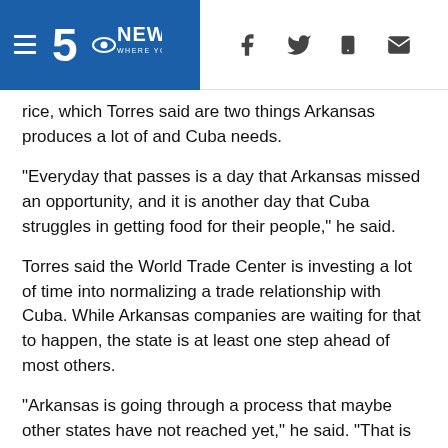5NEWS WHERE YOU LIVE
rice, which Torres said are two things Arkansas produces a lot of and Cuba needs.
"Everyday that passes is a day that Arkansas missed an opportunity, and it is another day that Cuba struggles in getting food for their people," he said.
Torres said the World Trade Center is investing a lot of time into normalizing a trade relationship with Cuba. While Arkansas companies are waiting for that to happen, the state is at least one step ahead of most others.
"Arkansas is going through a process that maybe other states have not reached yet," he said. "That is that our business people, our senators and our congressmen, they understand the relations between Arkansas and Cuba, they understand Cuba and they understand the embargo."
Hanna said he is noticing the effort put in by the World Trade Center.